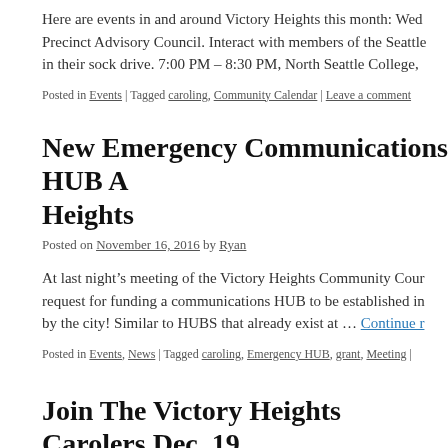Here are events in and around Victory Heights this month: Wed Precinct Advisory Council. Interact with members of the Seattle in their sock drive. 7:00 PM – 8:30 PM, North Seattle College,
Posted in Events | Tagged caroling, Community Calendar | Leave a comment
New Emergency Communications HUB A… Heights
Posted on November 16, 2016 by Ryan
At last night's meeting of the Victory Heights Community Cour request for funding a communications HUB to be established in by the city! Similar to HUBS that already exist at … Continue r
Posted in Events, News | Tagged caroling, Emergency HUB, grant, Meeting |
Join The Victory Heights Carolers Dec. 19…
Posted on December 17, 2015 by R…